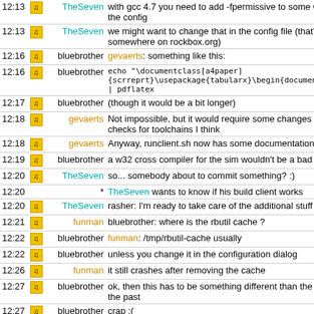| time | icon | nick | message |
| --- | --- | --- | --- |
| 12:13 |  | TheSeven | with gcc 4.7 you need to add -fpermissive to some CFLAGS v... the config |
| 12:13 |  | TheSeven | we might want to change that in the config file (that's hosted somewhere on rockbox.org) |
| 12:16 |  | bluebrother | gevaerts: something like this: |
| 12:16 |  | bluebrother | echo "\documentclass[a4paper]{scrreprt}\usepackage{tabularx}\begin{document}test\end{do... | pdflatex |
| 12:17 |  | bluebrother | (though it would be a bit longer) |
| 12:18 |  | gevaerts | Not impossible, but it would require some changes in how rbc... checks for toolchains I think |
| 12:18 |  | gevaerts | Anyway, runclient.sh now has some documentation |
| 12:19 |  | bluebrother | a w32 cross compiler for the sim wouldn't be a bad idea either |
| 12:20 |  | TheSeven | so... somebody about to commit something? :) |
| 12:20 | * | TheSeven | wants to know if his build client works |
| 12:20 |  | TheSeven | rasher: I'm ready to take care of the additional stuff that you ne... |
| 12:21 |  | funman | bluebrother: where is the rbutil cache ? |
| 12:22 |  | bluebrother | funman: /tmp/rbutil-cache usually |
| 12:22 |  | bluebrother | unless you change it in the configuration dialog |
| 12:26 |  | funman | it still crashes after removing the cache |
| 12:27 |  | bluebrother | ok, then this has to be something different than the problem I'v... the past |
| 12:27 |  | bluebrother | crap :( |
| 12:38 |  | bluebrother | ok, I now see a crash that looks like your backtrace |
| 12:40 |  | rasher | TheSeven: I'm not sure if there's anything I need other than a b... |